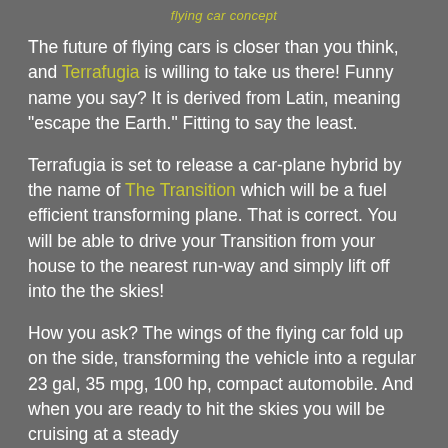flying car concept
The future of flying cars is closer than you think, and Terrafugia is willing to take us there! Funny name you say? It is derived from Latin, meaning "escape the Earth." Fitting to say the least.
Terrafugia is set to release a car-plane hybrid by the name of The Transition which will be a fuel efficient transforming plane. That is correct. You will be able to drive your Transition from your house to the nearest run-way and simply lift off into the the skies!
How you ask? The wings of the flying car fold up on the side, transforming the vehicle into a regular 23 gal, 35 mpg, 100 hp, compact automobile. And when you are ready to hit the skies you will be cruising at a steady